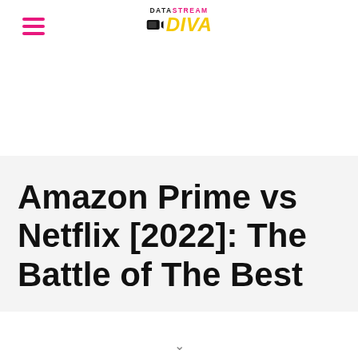Data Stream Diva
Amazon Prime vs Netflix [2022]: The Battle of The Best